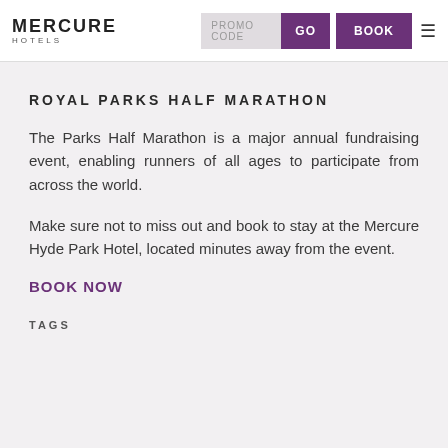MERCURE HOTELS | PROMO CODE | GO | BOOK
ROYAL PARKS HALF MARATHON
The Parks Half Marathon is a major annual fundraising event, enabling runners of all ages to participate from across the world.
Make sure not to miss out and book to stay at the Mercure Hyde Park Hotel, located minutes away from the event.
BOOK NOW
TAGS